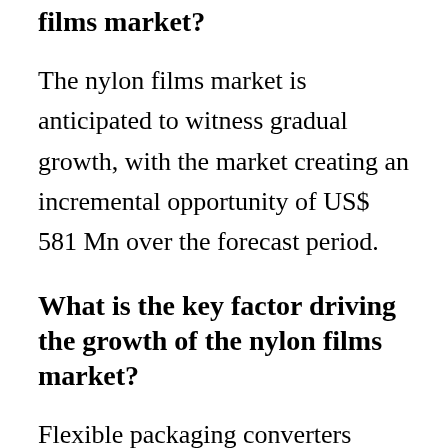What are the future prospects of the nylon films market?
The nylon films market is anticipated to witness gradual growth, with the market creating an incremental opportunity of US$ 581 Mn over the forecast period.
What is the key factor driving the growth of the nylon films market?
Flexible packaging converters highly prefer nylon films for packaging perishable products